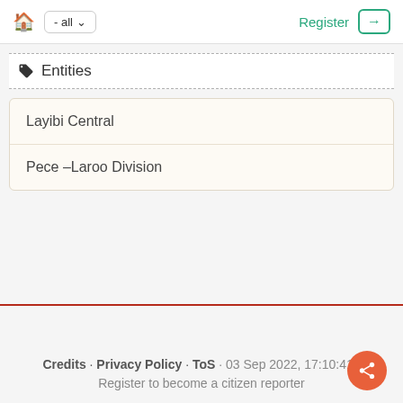- all   Register
Entities
Layibi Central
Pece –Laroo Division
Credits · Privacy Policy · ToS · 03 Sep 2022, 17:10:41 · Register to become a citizen reporter